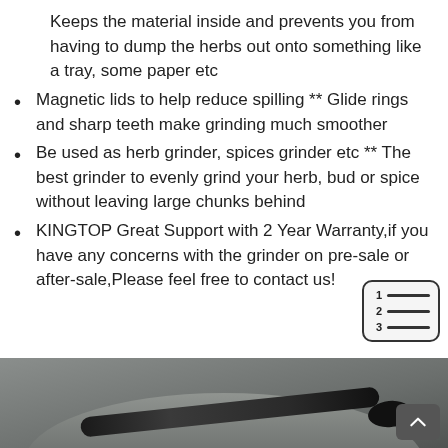Keeps the material inside and prevents you from having to dump the herbs out onto something like a tray, some paper etc
Magnetic lids to help reduce spilling ** Glide rings and sharp teeth make grinding much smoother
Be used as herb grinder, spices grinder etc ** The best grinder to evenly grind your herb, bud or spice without leaving large chunks behind
KINGTOP Great Support with 2 Year Warranty,if you have any concerns with the grinder on pre-sale or after-sale,Please feel free to contact us!
[Figure (photo): Close-up photograph of a dark stone mortar and pestle, showing the round mortar bowl and the cylindrical pestle handle against a gray stone surface.]